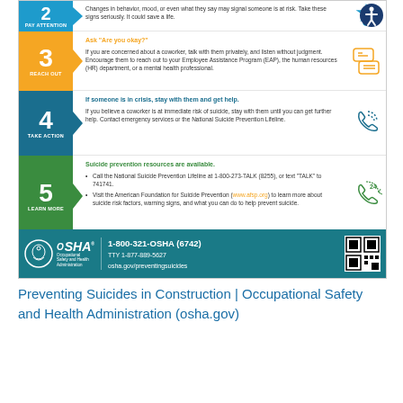[Figure (infographic): OSHA infographic showing steps 2-5 for suicide prevention in construction workplace, with step numbers in colored boxes (blue, orange, teal, green), headings, explanatory text, icons, and OSHA footer with contact information.]
Preventing Suicides in Construction | Occupational Safety and Health Administration (osha.gov)